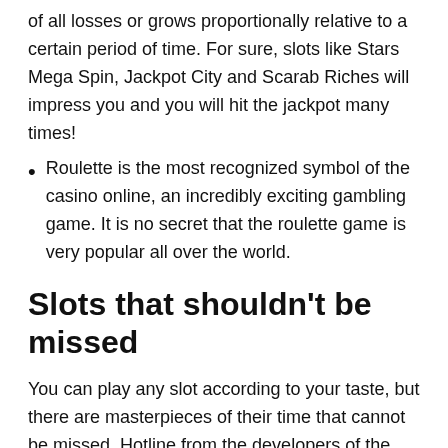of all losses or grows proportionally relative to a certain period of time. For sure, slots like Stars Mega Spin, Jackpot City and Scarab Riches will impress you and you will hit the jackpot many times!
Roulette is the most recognized symbol of the casino online, an incredibly exciting gambling game. It is no secret that the roulette game is very popular all over the world.
Slots that shouldn't be missed
You can play any slot according to your taste, but there are masterpieces of their time that cannot be missed. Hotline from the developers of the online slot game NetEnt immerses the player in the atmosphere of “lamp” fighters from the times of the 90s with jewels and high-speed cars. The Hotline slot has a 3×5 playing field structure and 30 fixed paylines, the number